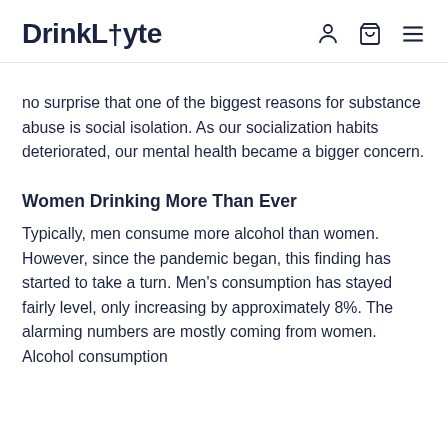DrinkLyte
no surprise that one of the biggest reasons for substance abuse is social isolation. As our socialization habits deteriorated, our mental health became a bigger concern.
Women Drinking More Than Ever
Typically, men consume more alcohol than women. However, since the pandemic began, this finding has started to take a turn. Men's consumption has stayed fairly level, only increasing by approximately 8%. The alarming numbers are mostly coming from women. Alcohol consumption